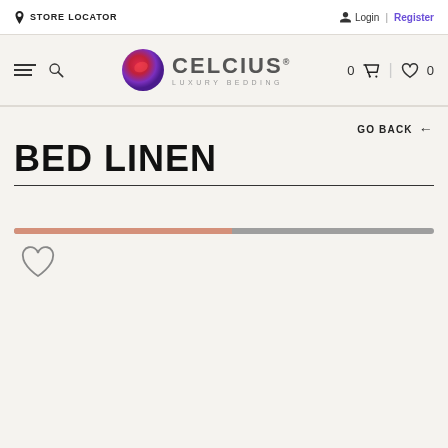STORE LOCATOR  Login | Register
[Figure (logo): Celcius Luxury Bedding logo with a purple/red sphere icon and text CELCIUS LUXURY BEDDING]
GO BACK ←
BED LINEN
[Figure (infographic): A horizontal progress/loading bar: approximately 52% filled in a salmon/terracotta color, remainder in grey]
[Figure (illustration): A heart (wishlist) icon outline in grey]